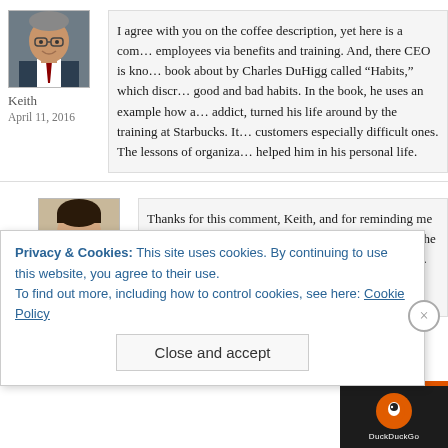[Figure (photo): Avatar photo of Keith, a man in a suit and tie]
Keith
April 11, 2016
I agree with you on the coffee description, yet here is a com... employees via benefits and training. And, there CEO is kno... book about by Charles DuHigg called “Habits,” which discr... good and bad habits. In the book, he uses an example how a... addict, turned his life around by the training at Starbucks. It... customers especially difficult ones. The lessons of organiza... helped him in his personal life.
[Figure (photo): Avatar photo of Life in the Boomer, a woman in vintage style]
Life in the Boomer
Thanks for this comment, Keith, and for reminding me t... indeed, a great employer and a a great citizen of the wo... happy that the company has been so successful. I’ll bet t... round by working there. Bravo
Privacy & Cookies: This site uses cookies. By continuing to use this website, you agree to their use.
To find out more, including how to control cookies, see here: Cookie Policy
Close and accept